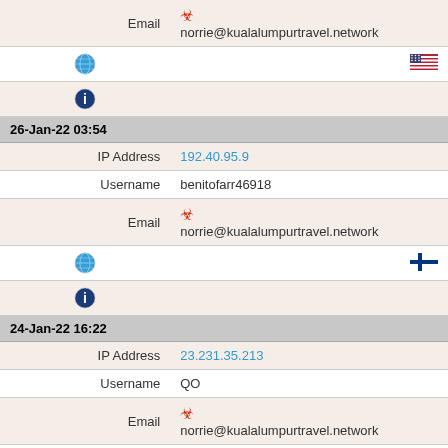| Email | ⚠ norrie@kualalumpurtravel.network |
| [globe] | [US flag] |
| [info] |  |
| 26-Jan-22 03:54 |  |
| IP Address | 192.40.95.9 |
| Username | benitofarr46918 |
| Email | ⚠ norrie@kualalumpurtravel.network |
| [globe] | [FI flag] |
| [info] |  |
| 24-Jan-22 16:22 |  |
| IP Address | 23.231.35.213 |
| Username | QO |
| Email | ⚠ norrie@kualalumpurtravel.network |
| [globe] | [US flag] |
| [info] |  |